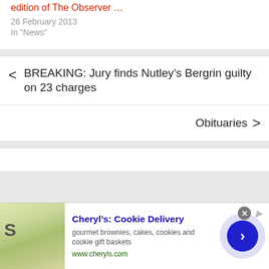edition of The Observer …
26 February 2013
In "News"
BREAKING: Jury finds Nutley's Bergrin guilty on 23 charges
Obituaries
[Figure (screenshot): Advertisement banner for Cheryl's Cookie Delivery showing cookie/food image, bold blue title, description text, green URL, circular blue arrow button, and close button]
Cheryl's: Cookie Delivery
gourmet brownies, cakes, cookies and cookie gift baskets
www.cheryls.com